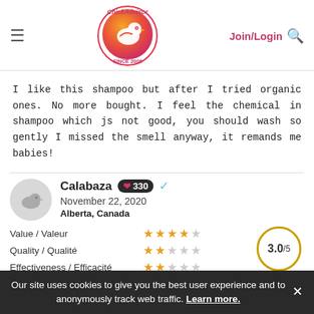[Figure (logo): ChickAdvisor logo - orange/red gradient circle with white bird, text 'ChickAdvisor' and 'SINCE 2006']
Join/Login 🔍
I like this shampoo but after I tried organic ones. No more bought. I feel the chemical in shampoo which js not good, you should wash so gently I missed the smell anyway, it remands me babies!
Calabaza ❤ 330
November 22, 2020
Alberta, Canada
Value / Valeur ★★★★☆
Quality / Qualité ★★☆☆☆
Effectiveness / Efficacité ★★☆☆☆
3.0/5
Recommended? Fugheddaboutit!
Our site uses cookies to give you the best user experience and to anonymously track web traffic. Learn more.